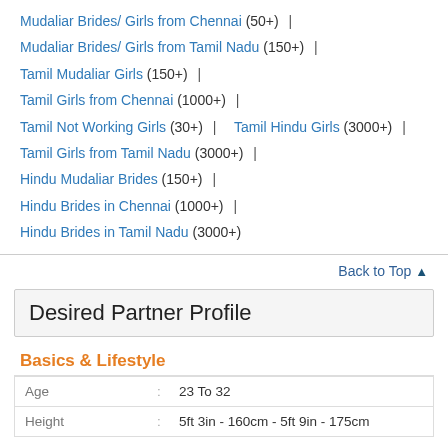Mudaliar Brides/ Girls from Chennai (50+) |
Mudaliar Brides/ Girls from Tamil Nadu (150+) |
Tamil Mudaliar Girls (150+) |
Tamil Girls from Chennai (1000+) |
Tamil Not Working Girls (30+) | Tamil Hindu Girls (3000+) |
Tamil Girls from Tamil Nadu (3000+) |
Hindu Mudaliar Brides (150+) |
Hindu Brides in Chennai (1000+) |
Hindu Brides in Tamil Nadu (3000+)
Back to Top ↑
Desired Partner Profile
Basics & Lifestyle
| Field |  | Value |
| --- | --- | --- |
| Age | : | 23 To 32 |
| Height | : | 5ft 3in - 160cm - 5ft 9in - 175cm |